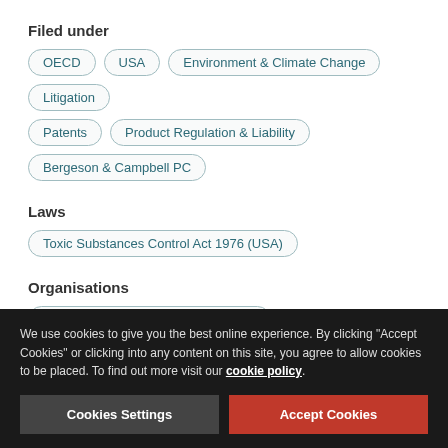Filed under
OECD
USA
Environment & Climate Change
Litigation
Patents
Product Regulation & Liability
Bergeson & Campbell PC
Laws
Toxic Substances Control Act 1976 (USA)
Organisations
US Environmental Protection Agency
Industries
We use cookies to give you the best online experience. By clicking "Accept Cookies" or clicking into any content on this site, you agree to allow cookies to be placed. To find out more visit our cookie policy.